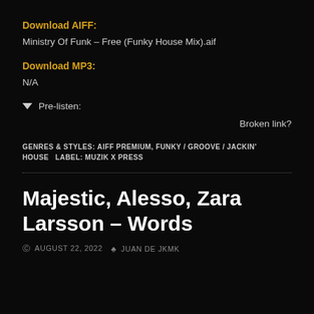Download AIFF:
Ministry Of Funk – Free (Funky House Mix).aif
Download MP3:
N/A
▼ Pre-listen:
Broken link?
GENRES & STYLES: AIFF PREMIUM, FUNKY / GROOVE / JACKIN' HOUSE   LABEL: MUZIK X PRESS
Majestic, Alesso, Zara Larsson – Words
AUGUST 22, 2022   JUAN DE JKMK